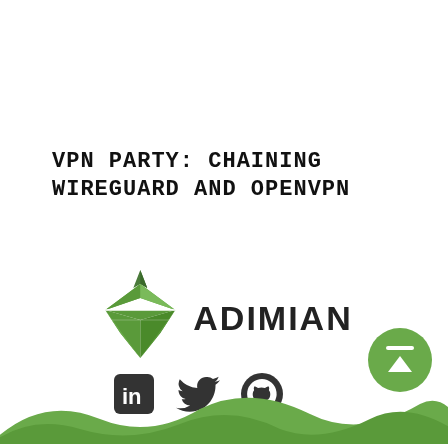VPN PARTY: CHAINING WIREGUARD AND OPENVPN
[Figure (logo): Adimian logo: green diamond/gem shape with stylized leaf top, followed by 'ADIMIAN' text in bold]
[Figure (other): Social media icons: LinkedIn, Twitter, GitHub in dark gray]
[Figure (other): Green circular back-to-top arrow button, bottom right]
[Figure (illustration): Green wavy hills decorative element at the bottom of the page]